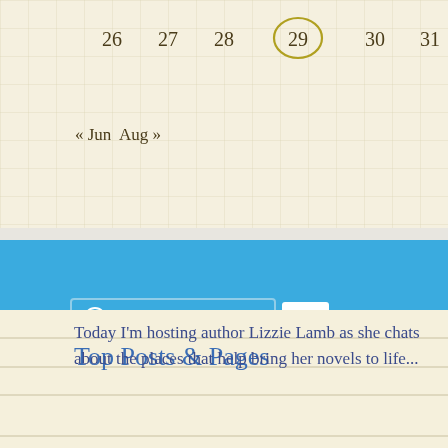[Figure (other): Calendar widget showing dates 26-31 with date 29 circled, on a grid paper background]
« Jun  Aug »
[Figure (other): Blue WordPress Follow button for JO LAMBERT with follower count 433]
Top Posts & Pages
Today I'm hosting author Lizzie Lamb as she chats about the places that help bring her novels to life...
TODAY LIFE PLAYLISTS CATCHES UP WITH